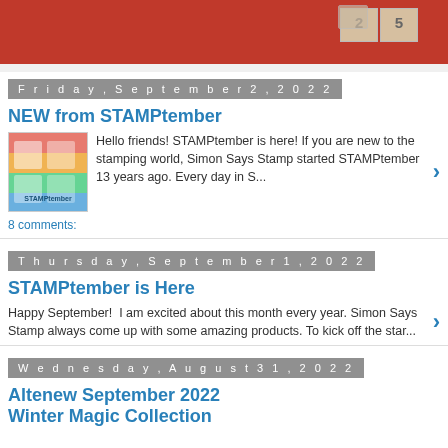[Figure (photo): Top header photo showing rubber stamps on a red background, partially cropped]
Friday, September 2, 2022
NEW from STAMPtember
Hello friends! STAMPtember is here! If you are new to the stamping world, Simon Says Stamp started STAMPtember 13 years ago. Every day in S...
8 comments:
Thursday, September 1, 2022
STAMPtember is Here
Happy September!  I am excited about this month every year. Simon Says Stamp always come up with some amazing products. To kick off the star...
Wednesday, August 31, 2022
Altenew September 2022 Winter Magic Collection